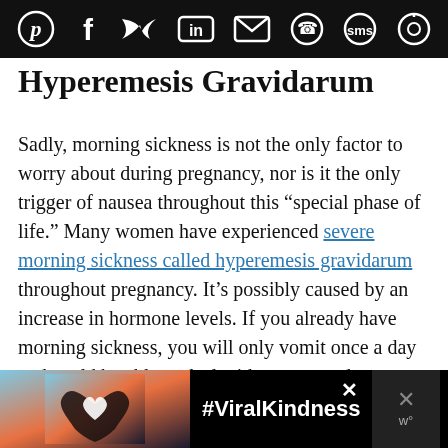Social sharing bar with icons: Pinterest, Facebook, Twitter, LinkedIn, Email, WhatsApp, SMS, other
Hyperemesis Gravidarum
Sadly, morning sickness is not the only factor to worry about during pregnancy, nor is it the only trigger of nausea throughout this “special phase of life.” Many women have experienced severe morning sickness called hyperemesis gravidarum throughout pregnancy. It’s possibly caused by an increase in hormone levels. If you already have morning sickness, you will only vomit once a day and could be able to deal with nausea and vomiting. If you experience hyperemesis gravidarum, you might
[Figure (photo): Advertisement banner with heart hands silhouette against sunset sky background and #ViralKindness text]